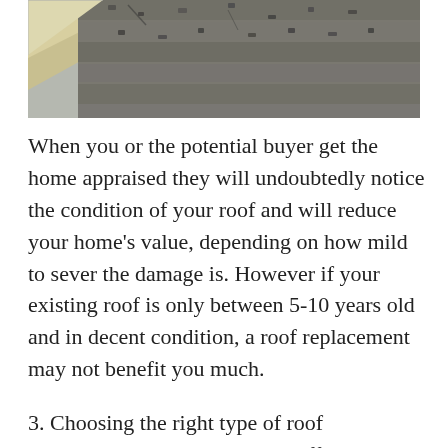[Figure (photo): Close-up photograph of damaged roof shingles/slate, showing cracked and deteriorating roofing material with granule loss.]
When you or the potential buyer get the home appraised they will undoubtedly notice the condition of your roof and will reduce your home's value, depending on how mild to sever the damage is. However if your existing roof is only between 5-10 years old and in decent condition, a roof replacement may not benefit you much.
3. Choosing the right type of roof replacement can make all the difference: Your choice between different types of shingles, a metal roof, or slate will impact the return you